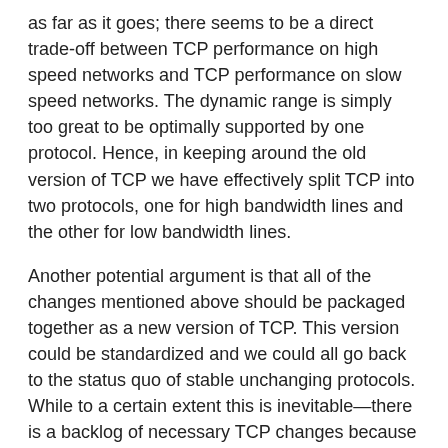as far as it goes; there seems to be a direct trade-off between TCP performance on high speed networks and TCP performance on slow speed networks. The dynamic range is simply too great to be optimally supported by one protocol. Hence, in keeping around the old version of TCP we have effectively split TCP into two protocols, one for high bandwidth lines and the other for low bandwidth lines.
Another potential argument is that all of the changes mentioned above should be packaged together as a new version of TCP. This version could be standardized and we could all go back to the status quo of stable unchanging protocols. While to a certain extent this is inevitable—there is a backlog of necessary TCP changes because of the current logistical problems in modifying protocols—it is only begs the question. The status quo is simply unacceptably static; there will always be future changes to TCP. Evolutionary change will also result in a better and more reliable TCP. Making small changes and distributing them at regular intervals ensures that one change has actually